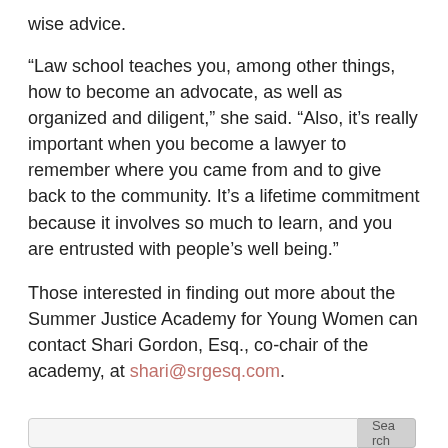wise advice.
“Law school teaches you, among other things, how to become an advocate, as well as organized and diligent,” she said. “Also, it’s really important when you become a lawyer to remember where you came from and to give back to the community. It’s a lifetime commitment because it involves so much to learn, and you are entrusted with people’s well being.”
Those interested in finding out more about the Summer Justice Academy for Young Women can contact Shari Gordon, Esq., co-chair of the academy, at shari@srgesq.com.